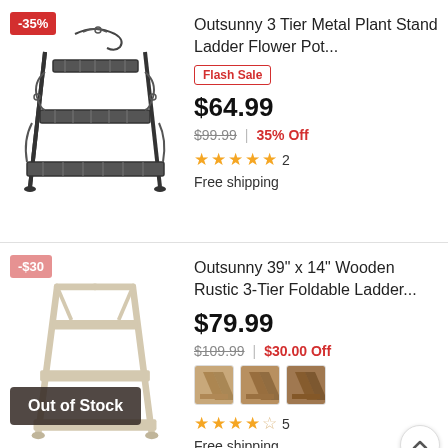[Figure (photo): 3-tier metal plant stand ladder, black wrought iron style, with -35% badge]
Outsunny 3 Tier Metal Plant Stand Ladder Flower Pot...
Flash Sale
$64.99
$99.99 | 35% Off
★★★★★ 2
Free shipping
[Figure (photo): Wooden rustic 3-tier foldable ladder plant stand, white/natural, with -$30 badge and Out of Stock overlay]
Outsunny 39" x 14" Wooden Rustic 3-Tier Foldable Ladder...
$79.99
$109.99 | $30.00 Off
★★★★☆ 5
Free shipping
Outsunny 7' Wood Steel